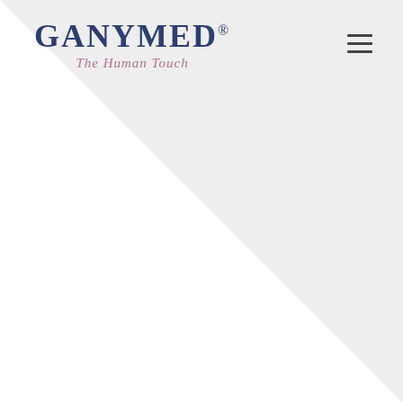[Figure (logo): Ganymed logo with company name in dark blue serif font and tagline 'The Human Touch' in pink italic below, with a registered trademark symbol]
[Figure (illustration): Light grey diagonal triangle/wedge shape in the upper portion of the page forming a decorative background element]
[Figure (other): Hamburger menu icon (three horizontal lines) in dark grey, positioned in the upper right corner]